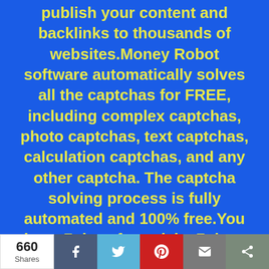publish your content and backlinks to thousands of websites.Money Robot software automatically solves all the captchas for FREE, including complex captchas, photo captchas, text captchas, calculation captchas, and any other captcha. The captcha solving process is fully automated and 100% free.You have 7 days free trial + 7 days money back guarantee, if for any reason you decide that Money Robot Submitter is not the perfect SEO tool for you, we will fully refund the cost of your order.
[Figure (infographic): Social share bar with share count (660 Shares), Facebook, Twitter, Pinterest, Email, and generic share buttons]